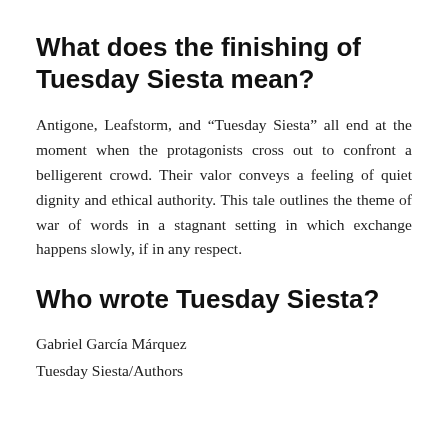What does the finishing of Tuesday Siesta mean?
Antigone, Leafstorm, and “Tuesday Siesta” all end at the moment when the protagonists cross out to confront a belligerent crowd. Their valor conveys a feeling of quiet dignity and ethical authority. This tale outlines the theme of war of words in a stagnant setting in which exchange happens slowly, if in any respect.
Who wrote Tuesday Siesta?
Gabriel García Márquez
Tuesday Siesta/Authors